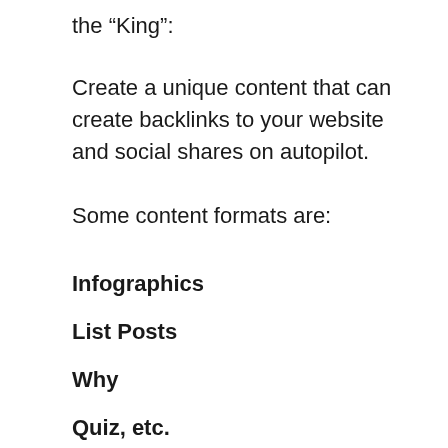the “King”:
Create a unique content that can create backlinks to your website and social shares on autopilot.
Some content formats are:
Infographics
List Posts
Why
Quiz, etc.